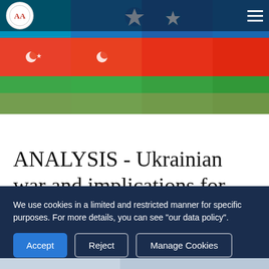[Figure (photo): Azerbaijan and Türkiye flags with crescent and star symbols in red, green, and blue background with star motifs]
ANALYSIS - Ukrainian war and implications for Türkiye, Azerbaijan
[Figure (photo): Partial photo of people in uniforms with decorative patterns, partially visible at bottom of page]
We use cookies in a limited and restricted manner for specific purposes. For more details, you can see "our data policy".
Accept | Reject | Manage Cookies